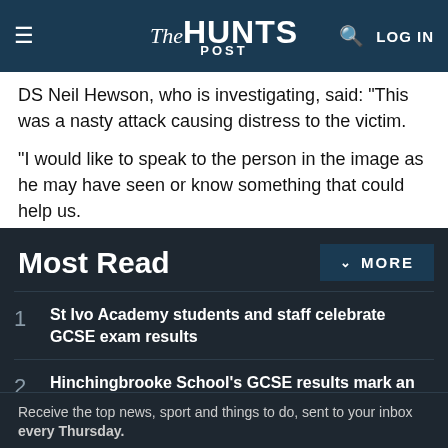The Hunts Post
DS Neil Hewson, who is investigating, said: "This was a nasty attack causing distress to the victim.
"I would like to speak to the person in the image as he may have seen or know something that could help us.
Most Read
1 St Ivo Academy students and staff celebrate GCSE exam results
2 Hinchingbrooke School's GCSE results mark an all-round improvement from 2019
3 Longsands Academy students celebrate achieving 'outstanding' GCSE results
Receive the top news, sport and things to do, sent to your inbox every Thursday.